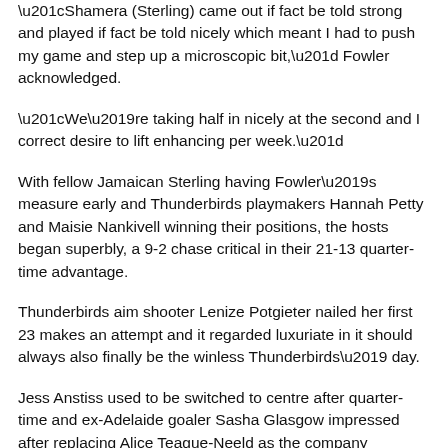“Shamera (Sterling) came out if fact be told strong and played if fact be told nicely which meant I had to push my game and step up a microscopic bit,” Fowler acknowledged.
“We’re taking half in nicely at the second and I correct desire to lift enhancing per week.”
With fellow Jamaican Sterling having Fowler’s measure early and Thunderbirds playmakers Hannah Petty and Maisie Nankivell winning their positions, the hosts began superbly, a 9-2 chase critical in their 21-13 quarter-time advantage.
Thunderbirds aim shooter Lenize Potgieter nailed her first 23 makes an attempt and it regarded luxuriate in it should always also finally be the winless Thunderbirds’ day.
Jess Anstiss used to be switched to centre after quarter-time and ex-Adelaide goaler Sasha Glasgow impressed after replacing Alice Teague-Neeld as the company responded with their possess 21-13